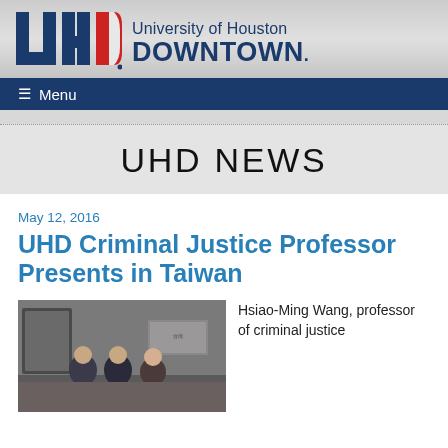[Figure (logo): University of Houston Downtown logo with UHD letters and wordmark]
☰ Menu
UHD NEWS
May 12, 2016
UHD Criminal Justice Professor Presents in Taiwan
[Figure (photo): Photo of people in a conference or presentation setting]
Hsiao-Ming Wang, professor of criminal justice